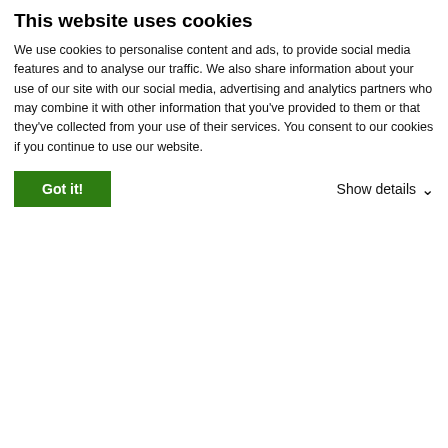This website uses cookies
We use cookies to personalise content and ads, to provide social media features and to analyse our traffic. We also share information about your use of our site with our social media, advertising and analytics partners who may combine it with other information that you've provided to them or that they've collected from your use of their services. You consent to our cookies if you continue to use our website.
Got it!
Show details
lextAPI. Then from the front-end download and install Episerver
Translate Gadget as following: